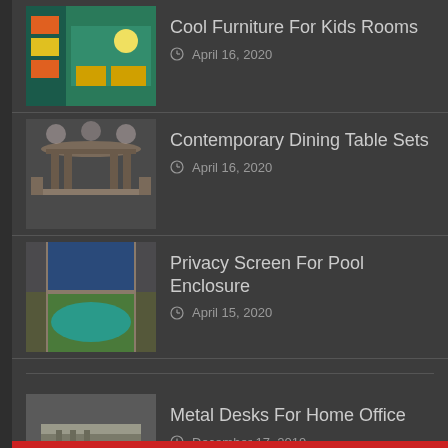Cool Furniture For Kids Rooms — April 16, 2020
Contemporary Dining Table Sets — April 16, 2020
Privacy Screen For Pool Enclosure — April 15, 2020
Metal Desks For Home Office — December 17, 2019
Bronze Bathroom Light Fixtures — November 1, 2019
Height Adjustable Swivel Bar Stool